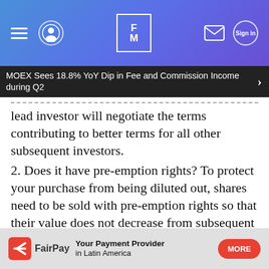[Figure (screenshot): Website header navigation bar with hamburger menu, user avatar icon, FM logo in center, mail icon and sign-in button on right, on a blue-purple gradient background]
MOEX Sees 18.8% YoY Dip in Fee and Commission Income during Q2
lead investor will negotiate the terms contributing to better terms for all other subsequent investors.
2. Does it have pre-emption rights? To protect your purchase from being diluted out, shares need to be sold with pre-emption rights so that their value does not decrease from subsequent funding rounds. Remember the movie ‘The Social Network’ where Facebook diluted the shareholding of Eduardo...ers,
[Figure (infographic): FairPay advertisement banner: FairPay logo on left with arrow icon, text 'Your Payment Provider in Latin America', red MORE button on right]